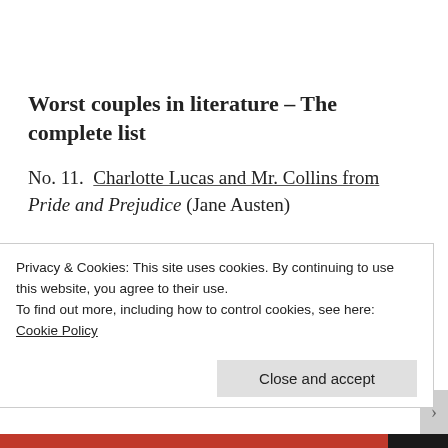Worst couples in literature – The complete list
No. 11.  Charlotte Lucas and Mr. Collins from Pride and Prejudice (Jane Austen)
No. 10.  Rosamund Vincy and Dr Lydgate from
Privacy & Cookies: This site uses cookies. By continuing to use this website, you agree to their use.
To find out more, including how to control cookies, see here:
Cookie Policy
Close and accept